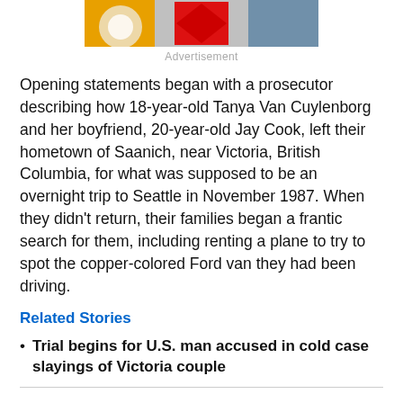[Figure (photo): Partially visible advertisement banner image showing colorful segments in yellow, white, red/diamond shape, and blue-gray]
Advertisement
Opening statements began with a prosecutor describing how 18-year-old Tanya Van Cuylenborg and her boyfriend, 20-year-old Jay Cook, left their hometown of Saanich, near Victoria, British Columbia, for what was supposed to be an overnight trip to Seattle in November 1987. When they didn't return, their families began a frantic search for them, including renting a plane to try to spot the copper-colored Ford van they had been driving.
Related Stories
Trial begins for U.S. man accused in cold case slayings of Victoria couple
About a week later, Van Cuylenborg's body was found